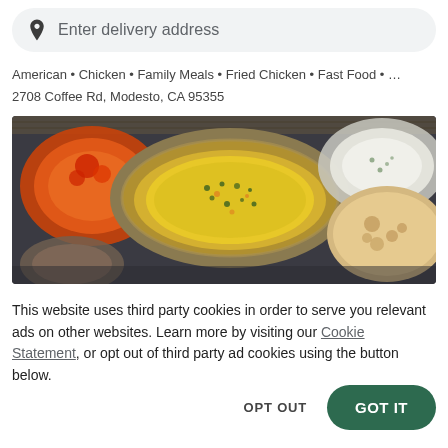Enter delivery address
American • Chicken • Family Meals • Fried Chicken • Fast Food • ...
2708 Coffee Rd, Modesto, CA 95355
[Figure (photo): Overhead shot of Indian food dishes including yellow rice, orange curry, white raita, and flatbread on a dark slate surface]
This website uses third party cookies in order to serve you relevant ads on other websites. Learn more by visiting our Cookie Statement, or opt out of third party ad cookies using the button below.
OPT OUT
GOT IT